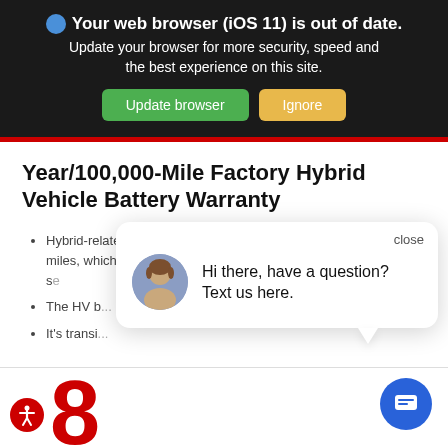Your web browser (iOS 11) is out of date. Update your browser for more security, speed and the best experience on this site. Update browser | Ignore
Year/100,000-Mile Factory Hybrid Vehicle Battery Warranty
Hybrid-related components are covered for 8-years or 100,000 miles, whichever comes first, from original date of first use when so...
The HV b... emissions w...
It's transi...
[Figure (screenshot): Chat popup overlay with agent avatar and message: 'Hi there, have a question? Text us here.' with a close button, and a blue chat FAB button in bottom right corner.]